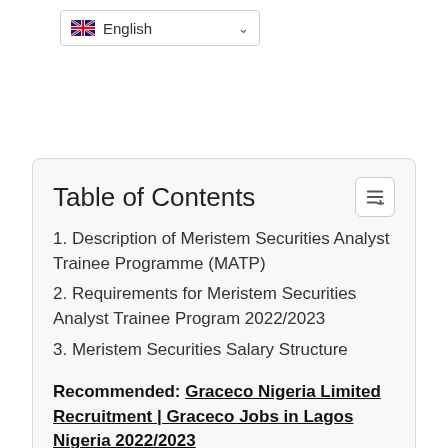[Figure (other): Language selector dropdown showing UK flag and 'English' with a chevron/arrow]
Table of Contents
1. Description of Meristem Securities Analyst Trainee Programme (MATP)
2. Requirements for Meristem Securities Analyst Trainee Program 2022/2023
3. Meristem Securities Salary Structure
Recommended:  Graceco Nigeria Limited Recruitment | Graceco Jobs in Lagos Nigeria 2022/2023